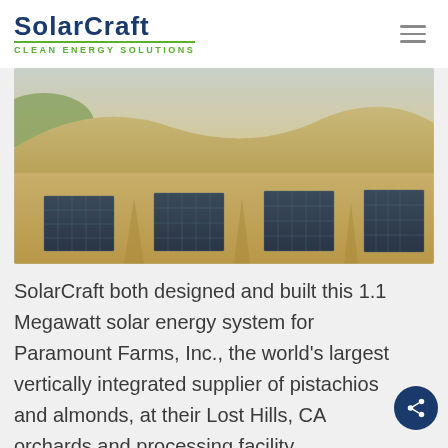SolarCraft Clean Energy Solutions
[Figure (photo): Aerial photograph of a large ground-mounted solar panel array on a sandy agricultural field with brown hills in the background, belonging to Paramount Farms, Inc. at Lost Hills, CA.]
SolarCraft both designed and built this 1.1 Megawatt solar energy system for Paramount Farms, Inc., the world's largest vertically integrated supplier of pistachios and almonds, at their Lost Hills, CA orchards and processing facility